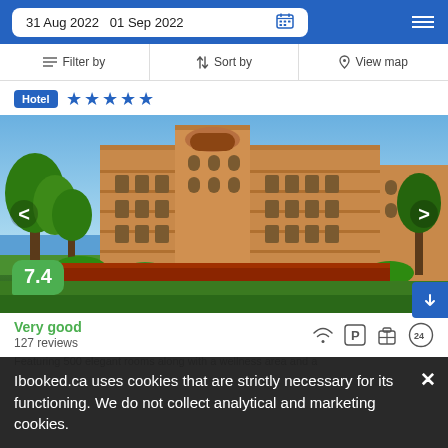31 Aug 2022  01 Sep 2022
Filter by  |  Sort by  |  View map
Hotel ★★★★★
[Figure (photo): Exterior photo of a large multi-storey hotel building with warm orange/beige facade, arched windows, surrounded by green trees and a landscaped garden under a blue sky.]
7.4
Very good
127 reviews
Ibooked.ca uses cookies that are strictly necessary for its functioning. We do not collect analytical and marketing cookies.